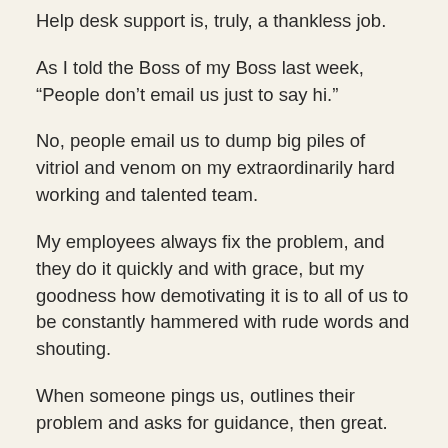Help desk support is, truly, a thankless job.
As I told the Boss of my Boss last week, “People don’t email us just to say hi.”
No, people email us to dump big piles of vitriol and venom on my extraordinarily hard working and talented team.
My employees always fix the problem, and they do it quickly and with grace, but my goodness how demotivating it is to all of us to be constantly hammered with rude words and shouting.
When someone pings us, outlines their problem and asks for guidance, then great.
When someone fills an email with everything they think is wrong with my program, the company and the world, it’s brutal. Once or twice is easy to ignore. Overtime, it builds